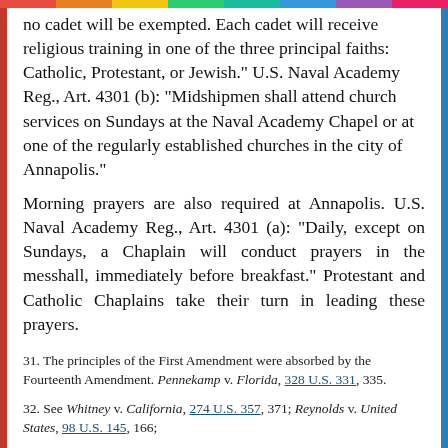no cadet will be exempted. Each cadet will receive religious training in one of the three principal faiths: Catholic, Protestant, or Jewish." U.S. Naval Academy Reg., Art. 4301 (b): "Midshipmen shall attend church services on Sundays at the Naval Academy Chapel or at one of the regularly established churches in the city of Annapolis."
Morning prayers are also required at Annapolis. U.S. Naval Academy Reg., Art. 4301 (a): "Daily, except on Sundays, a Chaplain will conduct prayers in the messhall, immediately before breakfast." Protestant and Catholic Chaplains take their turn in leading these prayers.
31. The principles of the First Amendment were absorbed by the Fourteenth Amendment. Pennekamp v. Florida, 328 U.S. 331, 335.
32. See Whitney v. California, 274 U.S. 357, 371; Reynolds v. United States, 98 U.S. 145, 166;